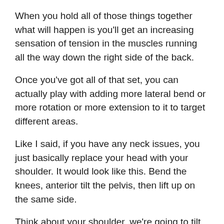When you hold all of those things together what will happen is you'll get an increasing sensation of tension in the muscles running all the way down the right side of the back.
Once you've got all of that set, you can actually play with adding more lateral bend or more rotation or more extension to it to target different areas.
Like I said, if you have any neck issues, you just basically replace your head with your shoulder. It would look like this. Bend the knees, anterior tilt the pelvis, then lift up on the same side.
Think about your shoulder, we're going to tilt to the right, rotate and then try to touch the back of your shoulder to your hip and that will give you a really, really nice strong contraction, again starting with a level three, and then gradually working your way up.